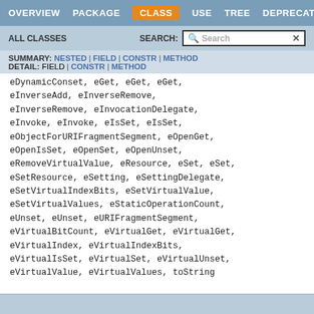OVERVIEW  PACKAGE  CLASS  USE  TREE  DEPRECATED
ALL CLASSES   SEARCH:
SUMMARY: NESTED | FIELD | CONSTR | METHOD  DETAIL: FIELD | CONSTR | METHOD
eDynamicConset, eGet, eGet, eGet, eInverseAdd, eInverseRemove, eInverseRemove, eInvocationDelegate, eInvoke, eInvoke, eIsSet, eIsSet, eObjectForURIFragmentSegment, eOpenGet, eOpenIsSet, eOpenSet, eOpenUnset, eRemoveVirtualValue, eResource, eSet, eSet, eSetResource, eSetting, eSettingDelegate, eSetVirtualIndexBits, eSetVirtualValue, eSetVirtualValues, eStaticOperationCount, eUnset, eUnset, eURIFragmentSegment, eVirtualBitCount, eVirtualGet, eVirtualGet, eVirtualIndex, eVirtualIndexBits, eVirtualIsSet, eVirtualSet, eVirtualUnset, eVirtualValue, eVirtualValues, toString